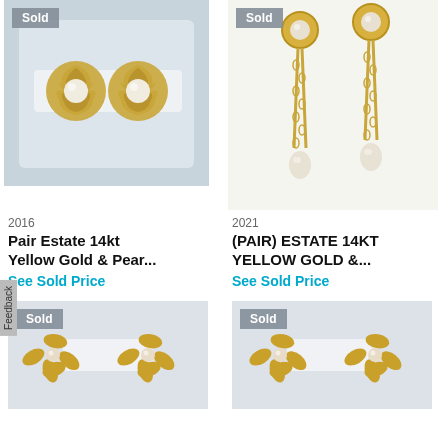[Figure (photo): Two gold rose swirl pearl clip-on earrings on white stand, marked Sold]
[Figure (photo): Pair of 14kt yellow gold long drop earrings with pearl drops and chain, marked Sold]
2016
Pair Estate 14kt Yellow Gold & Pear...
See Sold Price
2021
(PAIR) ESTATE 14KT YELLOW GOLD &...
See Sold Price
[Figure (photo): Pair of gold leaf/flower earrings with pearl center on white stand, marked Sold]
[Figure (photo): Pair of gold leaf/flower earrings with pearl center on white stand, marked Sold]